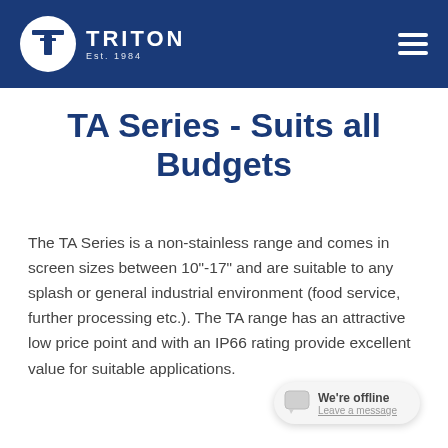TRITON Est. 1984
TA Series - Suits all Budgets
The TA Series is a non-stainless range and comes in screen sizes between 10"-17" and are suitable to any splash or general industrial environment (food service, further processing etc.). The TA range has an attractive low price point and with an IP66 rating provide excellent value for suitable applications.
We're offline
Leave a message